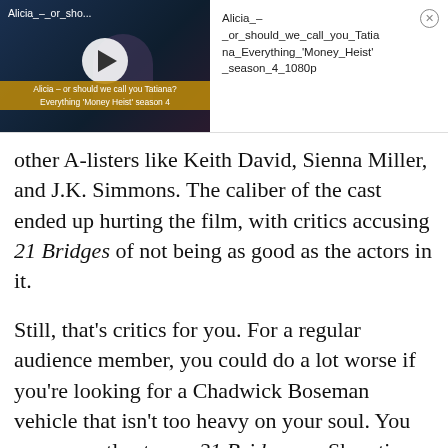[Figure (screenshot): Video player thumbnail showing a scene from 'Money Heist' season 4 with play button overlay and subtitle bar reading 'Alicia – or should we call you Tatiana? Everything Money Heist season 4'. Beside it is the video filename: Alicia_–_or_should_we_call_you_Tatiana_Everything_'Money_Heist'_season_4_1080p with a close button.]
other A-listers like Keith David, Sienna Miller, and J.K. Simmons. The caliber of the cast ended up hurting the film, with critics accusing 21 Bridges of not being as good as the actors in it.
Still, that's critics for you. For a regular audience member, you could do a lot worse if you're looking for a Chadwick Boseman vehicle that isn't too heavy on your soul. You can currently stream 21 Bridges on Showtime.